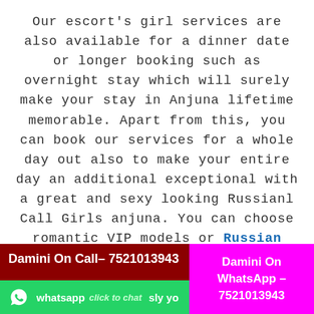Our escort's girl services are also available for a dinner date or longer booking such as overnight stay which will surely make your stay in Anjuna lifetime memorable. Apart from this, you can book our services for a whole day out also to make your entire day an additional exceptional with a great and sexy looking Russianl Call Girls anjuna. You can choose romantic VIP models or Russian Escorts in anjuna who are well-versed in keeping their clients busy for the entire night. These Escort models will full fill all your sexual desires and make your experience the most pleasurable moments.
Damini On Call– 7521013943 | Damini On WhatsApp – 7521013943